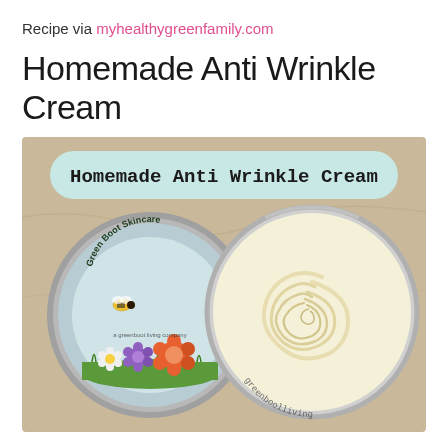Recipe via myhealthygreenfamily.com
Homemade Anti Wrinkle Cream
[Figure (photo): Photo of an open tin of homemade anti wrinkle cream with a label reading 'Homemade Anti Wrinkle Cream' on a light teal banner. On the left is the circular lid with Green Boot Skincare branding showing flowers and a bee. On the right is the open jar showing cream with swirled texture. Text 'greenboolliving' written on the jar rim.]